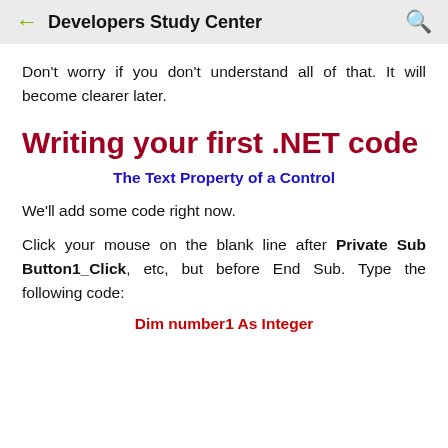Developers Study Center
Don't worry if you don't understand all of that. It will become clearer later.
Writing your first .NET code
The Text Property of a Control
We'll add some code right now.
Click your mouse on the blank line after Private Sub Button1_Click, etc, but before End Sub. Type the following code:
Dim number1 As Integer